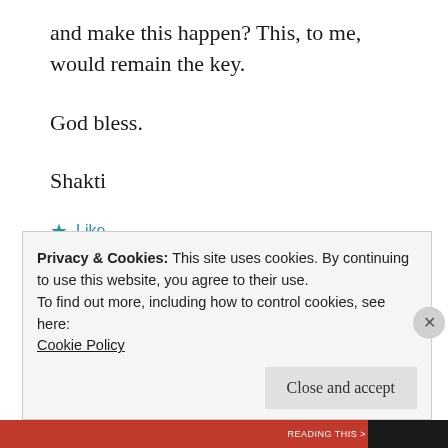and make this happen? This, to me, would remain the key.
God bless.
Shakti
★ Like
Reply
Privacy & Cookies: This site uses cookies. By continuing to use this website, you agree to their use.
To find out more, including how to control cookies, see here:
Cookie Policy
Close and accept